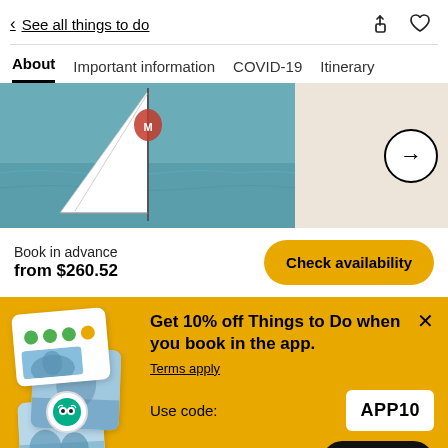< See all things to do
About  Important information  COVID-19  Itinerary
[Figure (photo): Sailing boat on open water with white sail]
Book in advance
from $260.52
Check availability
Get 10% off Things to Do when you book in the app.
Terms apply
Use code: APP10
Shop now